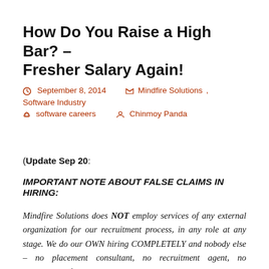How Do You Raise a High Bar? – Fresher Salary Again!
September 8, 2014   Mindfire Solutions, Software Industry   software careers   Chinmoy Panda
(Update Sep 20:
IMPORTANT NOTE ABOUT FALSE CLAIMS IN HIRING:
Mindfire Solutions does NOT employ services of any external organization for our recruitment process, in any role at any stage. We do our OWN hiring COMPLETELY and nobody else – no placement consultant, no recruitment agent, no headhunting firm, no campus coordinator, nobody else at all – is involved in